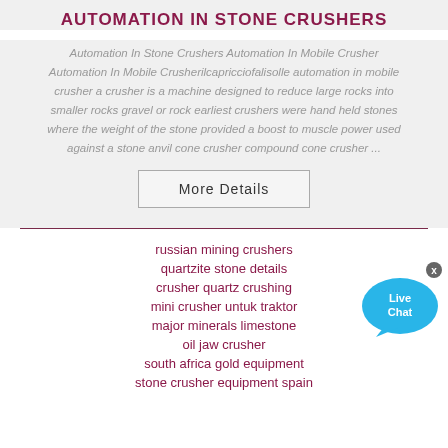AUTOMATION IN STONE CRUSHERS
Automation In Stone Crushers Automation In Mobile Crusher Automation In Mobile Crusherilcapricciofalisolle automation in mobile crusher a crusher is a machine designed to reduce large rocks into smaller rocks gravel or rock earliest crushers were hand held stones where the weight of the stone provided a boost to muscle power used against a stone anvil cone crusher compound cone crusher ...
russian mining crushers
quartzite stone details
crusher quartz crushing
mini crusher untuk traktor
major minerals limestone
oil jaw crusher
south africa gold equipment
stone crusher equipment spain